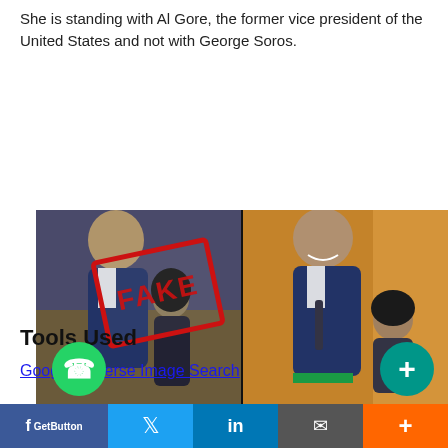She is standing with Al Gore, the former vice president of the United States and not with George Soros.
[Figure (photo): Two side-by-side photos. Left photo shows an elderly man (labeled FAKE with a red stamp) standing with a young girl. Right photo shows Al Gore standing with a young girl (Greta Thunberg).]
Tools Used
Google Reverse Image Search